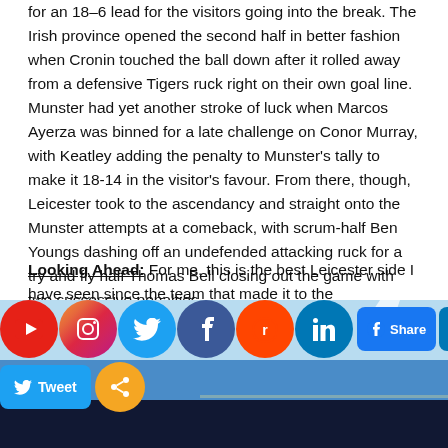for an 18–6 lead for the visitors going into the break. The Irish province opened the second half in better fashion when Cronin touched the ball down after it rolled away from a defensive Tigers ruck right on their own goal line. Munster had yet another stroke of luck when Marcos Ayerza was binned for a late challenge on Conor Murray, with Keatley adding the penalty to Munster's tally to make it 18-14 in the visitor's favour. From there, though, Leicester took to the ascendancy and straight onto the Munster attempts at a comeback, with scrum-half Ben Youngs dashing off an undefended attacking ruck for a try and fly half Thomas Bell closing out the game with two successive penalties.
Looking Ahead: For me, this is the best Leicester side I have seen since the team that made it to the
2009
[Figure (photo): Stadium photo with social media sharing buttons overlay including YouTube, Instagram, Twitter, Facebook, Reddit, LinkedIn icons and Share buttons]